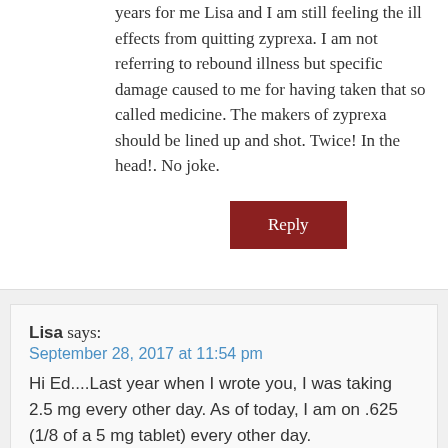years for me Lisa and I am still feeling the ill effects from quitting zyprexa. I am not referring to rebound illness but specific damage caused to me for having taken that so called medicine. The makers of zyprexa should be lined up and shot. Twice! In the head!. No joke.
Reply
Lisa says:
September 28, 2017 at 11:54 pm
Hi Ed....Last year when I wrote you, I was taking 2.5 mg every other day. As of today, I am on .625 (1/8 of a 5 mg tablet) every other day.
I know I have done this very slowly but in 2014, I quit it cold turkey and became